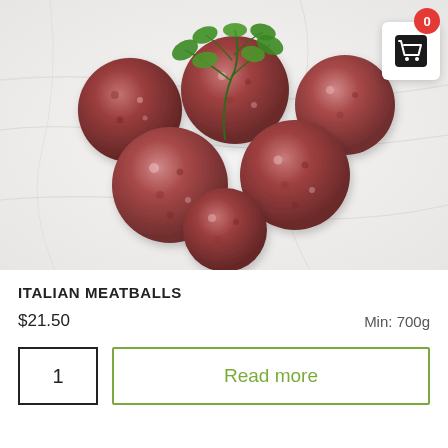[Figure (photo): Italian meatballs arranged on a white marble surface, garnished with fresh parsley leaves. A shopping cart icon with a red badge showing '0' is visible in the top right corner.]
ITALIAN MEATBALLS
$21.50    Min: 700g
1
Read more